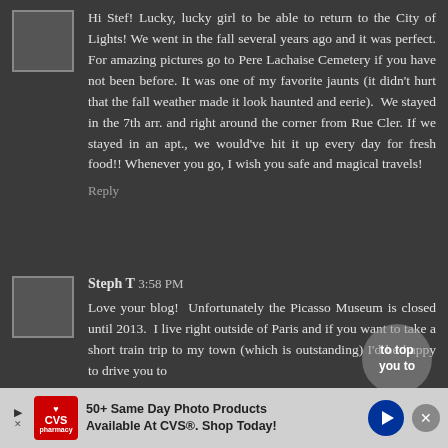[Figure (other): Avatar placeholder square for first commenter]
Hi Stef! Lucky, lucky girl to be able to return to the City of Lights! We went in the fall several years ago and it was perfect. For amazing pictures go to Pere Lachaise Cemetery if you have not been before. It was one of my favorite jaunts (it didn't hurt that the fall weather made it look haunted and eerie). We stayed in the 7th arr. and right around the corner from Rue Cler. If we stayed in an apt., we would've hit it up every day for fresh food!! Whenever you go, I wish you safe and magical travels!
Reply
[Figure (other): Avatar placeholder square for Steph T]
Steph T 3:58 PM
Love your blog!  Unfortunately the Picasso Museum is closed until 2013.  I live right outside of Paris and if you want to take a short train trip to my town (which is outstanding) I'd be happy to drive you to
[Figure (other): CVS advertisement banner: 50+ Same Day Photo Products Available At CVS®. Shop Today!]